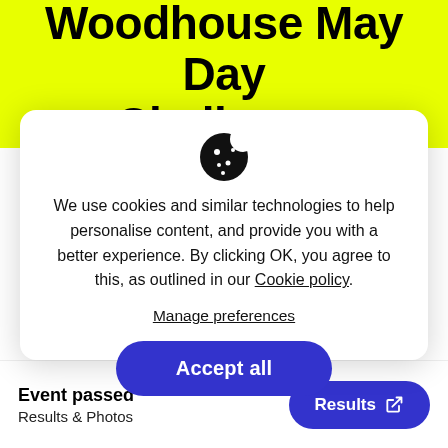Woodhouse May Day Challenge
[Figure (illustration): Cookie icon — a dark cookie with bite taken out and white dots]
We use cookies and similar technologies to help personalise content, and provide you with a better experience. By clicking OK, you agree to this, as outlined in our Cookie policy.
Manage preferences
Accept all
Event passed
Results & Photos
Results